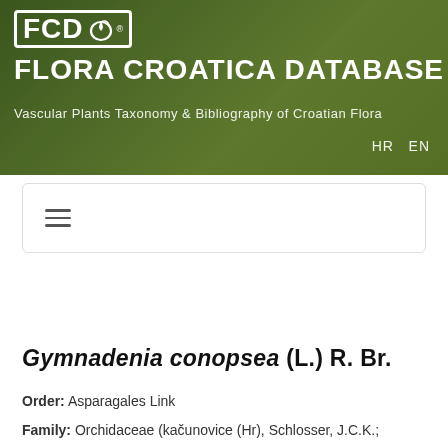[Figure (photo): Flora Croatica Database banner with green plant background photo, showing FCD logo, site title FLORA CROATICA DATABASE, subtitle about Vascular Plants Taxonomy and Bibliography of Croatian Flora, and HR EN language links]
FLORA CROATICA DATABASE
Vascular Plants Taxonomy & Bibliography of Croatian Flora
HR  EN
[Figure (screenshot): Navigation bar with hamburger menu icon (three horizontal lines)]
Uz pojedinu svojtu prikazati
Gymnadenia conopsea (L.) R. Br.
Order: Asparagales Link
Family: Orchidaceae (kačunovice (Hr), Schlosser, J.C.K.;